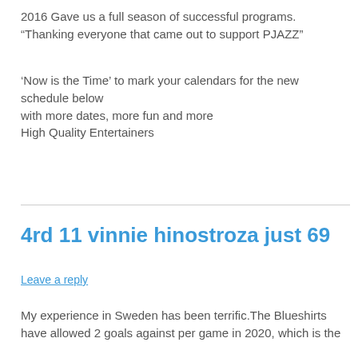2016 Gave us a full season of successful programs. “Thanking everyone that came out to support PJAZZ”
‘Now is the Time’ to mark your calendars for the new schedule below
with more dates, more fun and more
High Quality Entertainers
4rd 11 vinnie hinostroza just 69
Leave a reply
My experience in Sweden has been terrific.The Blueshirts have allowed 2 goals against per game in 2020, which is the